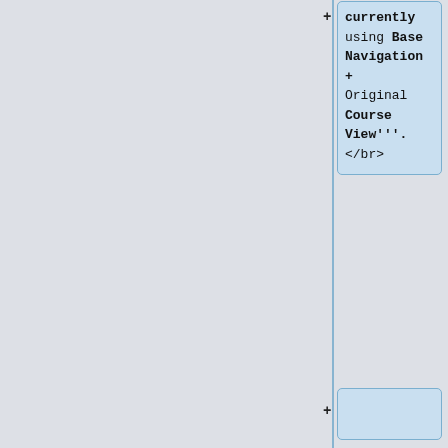[Figure (screenshot): A wiki diff/comparison view showing two columns of wikitext content. The left side shows a gray panel. The right column shows code boxes with blue highlighting. Top right box contains monospace code: 'currently using Base Navigation + Original Course View\'\'\'.</br>'. Below that is an empty blue box. Then two white boxes showing '|-'. Below those are two content boxes - left in yellow showing '! Bb 101, Getting Started !! Collaborate Video Conferencing !! Assessments & Assignments' and right in blue showing '! Bb 101, Getting Started !! Ultra Base Navigation (<span style="color:red">NEW</span>) !! Assessments'.]